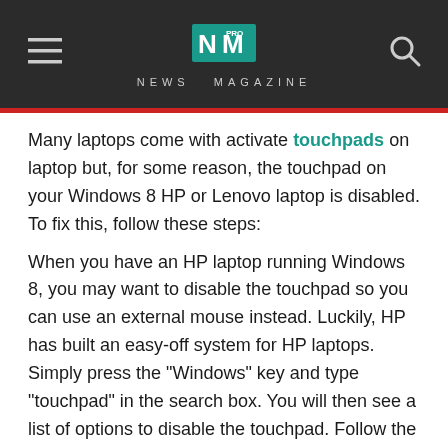NM PRO NEWS MAGAZINE
Many laptops come with activate touchpads on laptop but, for some reason, the touchpad on your Windows 8 HP or Lenovo laptop is disabled. To fix this, follow these steps:
When you have an HP laptop running Windows 8, you may want to disable the touchpad so you can use an external mouse instead. Luckily, HP has built an easy-off system for HP laptops. Simply press the "Windows" key and type "touchpad" in the search box. You will then see a list of options to disable the touchpad. Follow the steps outlined below to disable your HP touchpad Google.